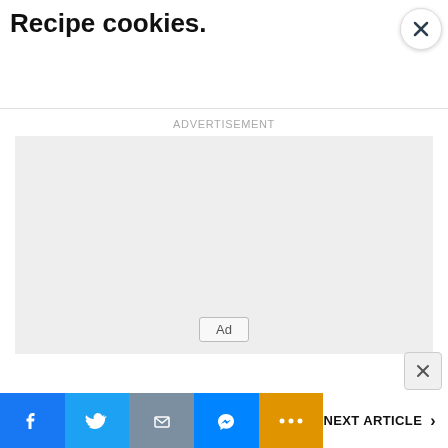Recipe cookies.
ADVERTISEMENT
[Figure (other): Advertisement placeholder box with 'Ad' badge]
NEXT ARTICLE >